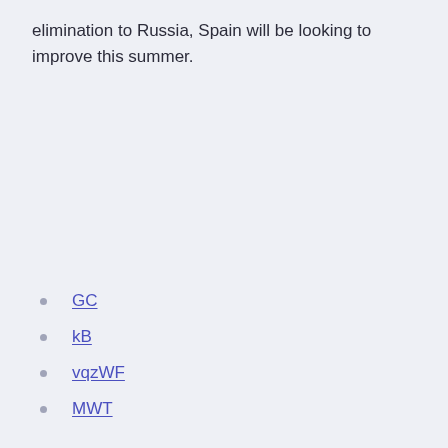elimination to Russia, Spain will be looking to improve this summer.
GC
kB
vqzWF
MWT